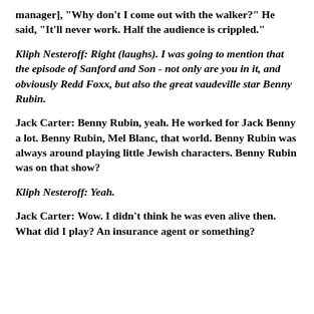manager], "Why don't I come out with the walker?" He said, "It'll never work. Half the audience is crippled."
Kliph Nesteroff: Right (laughs). I was going to mention that the episode of Sanford and Son - not only are you in it, and obviously Redd Foxx, but also the great vaudeville star Benny Rubin.
Jack Carter: Benny Rubin, yeah. He worked for Jack Benny a lot. Benny Rubin, Mel Blanc, that world. Benny Rubin was always around playing little Jewish characters. Benny Rubin was on that show?
Kliph Nesteroff: Yeah.
Jack Carter: Wow. I didn't think he was even alive then. What did I play? An insurance agent or something?